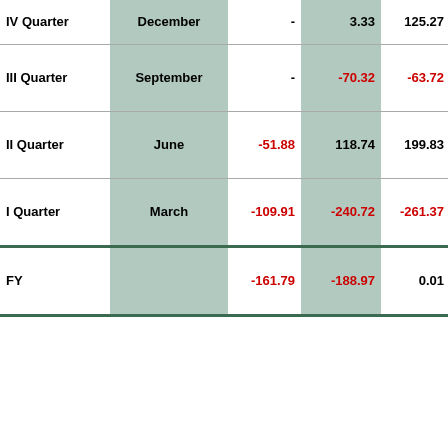|  |  |  |  |  |
| --- | --- | --- | --- | --- |
| IV Quarter | December | - | 3.33 | 125.27 |
| III Quarter | September | - | -70.32 | -63.72 |
| II Quarter | June | -51.88 | 118.74 | 199.83 |
| I Quarter | March | -109.91 | -240.72 | -261.37 |
| FY |  | -161.79 | -188.97 | 0.01 |